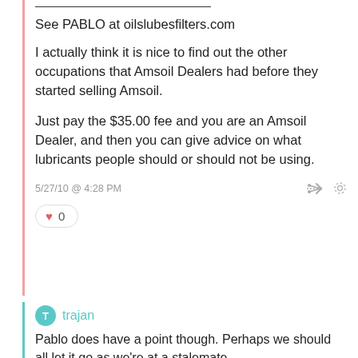See PABLO at oilslubesfilters.com
I actually think it is nice to find out the other occupations that Amsoil Dealers had before they started selling Amsoil.
Just pay the $35.00 fee and you are an Amsoil Dealer, and then you can give advice on what lubricants people should or should not be using.
5/27/10 @ 4:28 PM
0
trajan
Pablo does have a point though. Perhaps we should all let it go as we're at a stalemate.